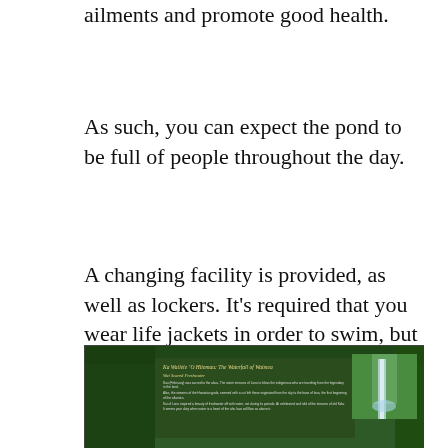ailments and promote good health.
As such, you can expect the pond to be full of people throughout the day.
A changing facility is provided, as well as lockers. It’s required that you wear life jackets in order to swim, but you may check them out from a stand next to the falls. There is also a sitting area to rest and wait, in case some of your party do not wish to swim.
[Figure (photo): A dark green informational sign reading 'Ka Wailele 'O Hiiomau: The Waterfall of Waimea' with text about sacred freshwater, surrounded by lush tropical greenery. A waterfall is partially visible on the right side of the sign.]